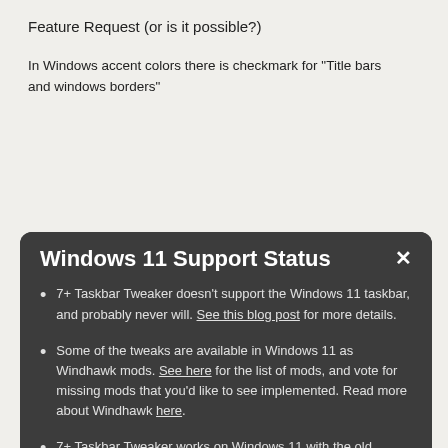Feature Request (or is it possible?)
In Windows accent colors there is checkmark for “Title bars and windows borders”
So a way to separate them
I wish the accent color only the active windows border and nothing else.
A comment on microsoft.com that reads...
The...
Windows 11 Support Status
7+ Taskbar Tweaker doesn't support the Windows 11 taskbar, and probably never will. See this blog post for more details.
Some of the tweaks are available in Windows 11 as Windhawk mods. See here for the list of mods, and vote for missing mods that you'd like to see implemented. Read more about Windhawk here.
7+ Taskbar Tweaker works on Windows 11 with the old taskbar which can be restored with third party tools. See this blog post for more details.